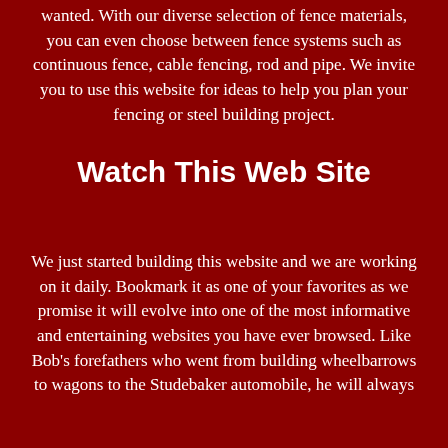wanted. With our diverse selection of fence materials, you can even choose between fence systems such as continuous fence, cable fencing, rod and pipe. We invite you to use this website for ideas to help you plan your fencing or steel building project.
Watch This Web Site
We just started building this website and we are working on it daily. Bookmark it as one of your favorites as we promise it will evolve into one of the most informative and entertaining websites you have ever browsed. Like Bob's forefathers who went from building wheelbarrows to wagons to the Studebaker automobile, he will always